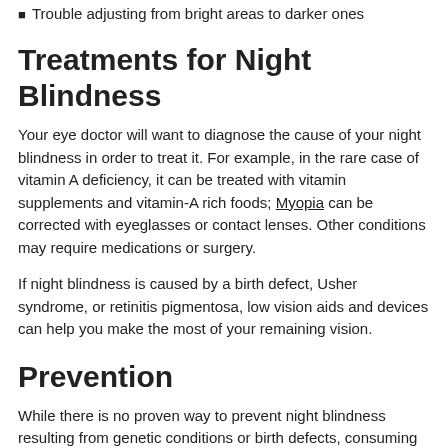Trouble adjusting from bright areas to darker ones
Treatments for Night Blindness
Your eye doctor will want to diagnose the cause of your night blindness in order to treat it. For example, in the rare case of vitamin A deficiency, it can be treated with vitamin supplements and vitamin-A rich foods; Myopia can be corrected with eyeglasses or contact lenses. Other conditions may require medications or surgery.
If night blindness is caused by a birth defect, Usher syndrome, or retinitis pigmentosa, low vision aids and devices can help you make the most of your remaining vision.
Prevention
While there is no proven way to prevent night blindness resulting from genetic conditions or birth defects, consuming healthy, nourishing foods and taking certain vitamin supplements may prevent or slow the onset of some eye conditions that cause night blindness.